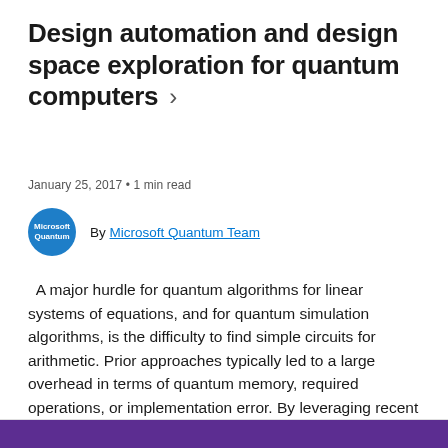Design automation and design space exploration for quantum computers  >
January 25, 2017 • 1 min read
By Microsoft Quantum Team
A major hurdle for quantum algorithms for linear systems of equations, and for quantum simulation algorithms, is the difficulty to find simple circuits for arithmetic. Prior approaches typically led to a large overhead in terms of quantum memory, required operations, or implementation error. By leveraging recent advances in reversible logic synthesis, Martin Roetteler and...Read more